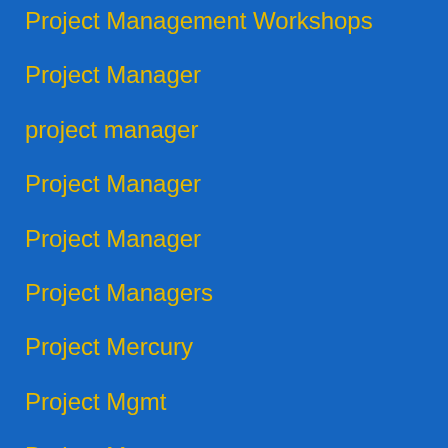Project Management Workshops
Project Manager
project manager
Project Manager
Project Manager
Project Managers
Project Mercury
Project Mgmt
Project Mgr
Project Plann…